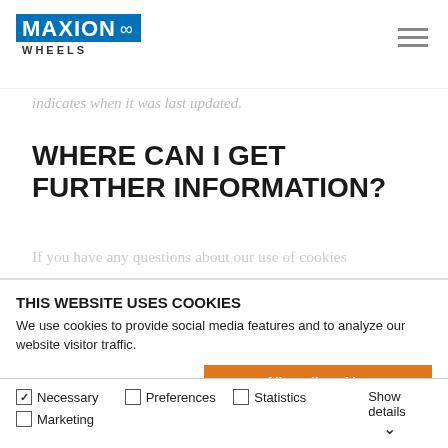MAXION WHEELS
indicates when it was last updated.
WHERE CAN I GET FURTHER INFORMATION?
If you have any questions about our use of cookies
THIS WEBSITE USES COOKIES
We use cookies to provide social media features and to analyze our website visitor traffic.
Allow all cookies
Allow selection
Use necessary cookies only
Necessary  Preferences  Statistics  Marketing  Show details